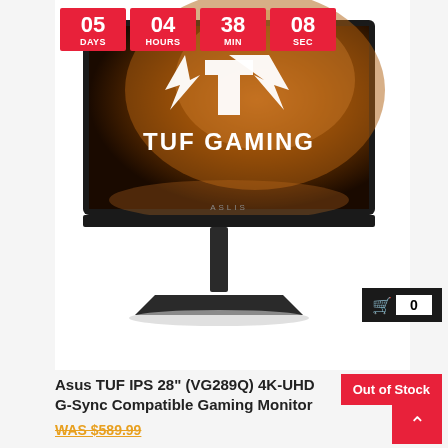[Figure (infographic): Countdown timer with 4 boxes: 05 DAYS, 04 HOURS, 38 MIN, 08 SEC on red background]
[Figure (photo): ASUS TUF Gaming monitor (VG289Q) 28 inch display showing TUF Gaming logo on screen, on a stand]
0 (cart badge)
Out of Stock
Asus TUF IPS 28" (VG289Q) 4K-UHD G-Sync Compatible Gaming Monitor
WAS $589.99